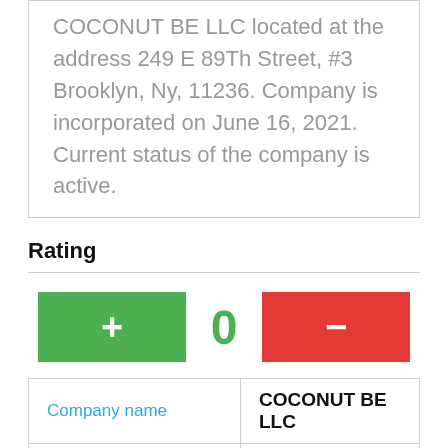COCONUT BE LLC located at the address 249 E 89Th Street, #3 Brooklyn, Ny, 11236. Company is incorporated on June 16, 2021. Current status of the company is active.
Rating
[Figure (other): Rating control with green plus button, value 0 in green, and red minus button]
| Company name |  |
| --- | --- |
| Company name | COCONUT BE LLC |